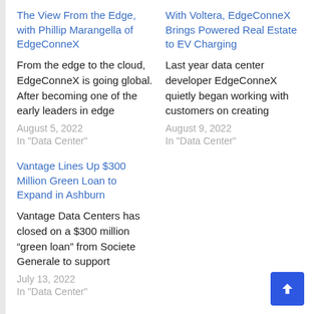The View From the Edge, with Phillip Marangella of EdgeConneX
From the edge to the cloud, EdgeConneX is going global. After becoming one of the early leaders in edge
August 5, 2022
In "Data Center"
With Voltera, EdgeConneX Brings Powered Real Estate to EV Charging
Last year data center developer EdgeConneX quietly began working with customers on creating
August 9, 2022
In "Data Center"
Vantage Lines Up $300 Million Green Loan to Expand in Ashburn
Vantage Data Centers has closed on a $300 million “green loan” from Societe Generale to support
July 13, 2022
In "Data Center"